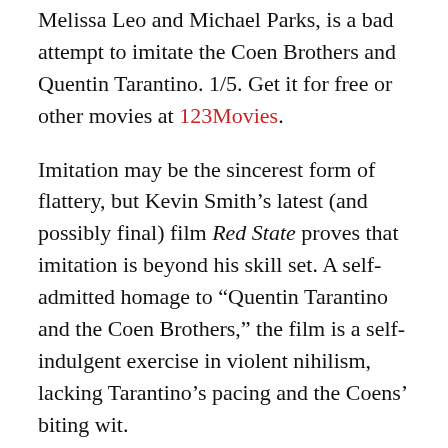Melissa Leo and Michael Parks, is a bad attempt to imitate the Coen Brothers and Quentin Tarantino. 1/5. Get it for free or other movies at 123Movies.
Imitation may be the sincerest form of flattery, but Kevin Smith's latest (and possibly final) film Red State proves that imitation is beyond his skill set. A self-admitted homage to “Quentin Tarantino and the Coen Brothers,” the film is a self-indulgent exercise in violent nihilism, lacking Tarantino’s pacing and the Coens’ biting wit.
Kevin Smith Directs Red State, Starring John Goodman, Melissa Leo and Michael Parks
When three Midwest teens (Michael Angarano, Nicholas Brown and Ronnie Connell) get an online